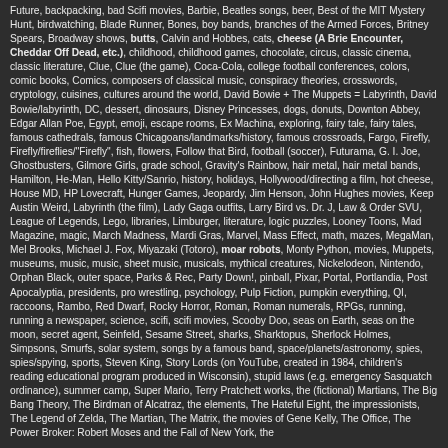Future, backpacking, bad Scifi movies, Barbie, Beatles songs, beer, Best of the MIT Mystery Hunt, birdwatching, Blade Runner, Bones, boy bands, branches of the Armed Forces, Britney Spears, Broadway shows, butts, Calvin and Hobbes, cats, cheese (A Brie Encounter, Cheddar Off Dead, etc.), childhood, childhood games, chocolate, circus, classic cinema, classic literature, Clue, Clue (the game), Coca-Cola, college football conferences, colors, comic books, Comics, composers of classical music, conspiracy theories, crosswords, cryptology, cuisines, cultures around the world, David Bowie + The Muppets = Labyrinth, David Bowie/labyrinth, DC, dessert, dinosaurs, Disney Princesses, dogs, donuts, Downton Abbey, Edgar Allan Poe, Egypt, emoji, escape rooms, Ex Machina, exploring, fairy tale, fairy tales, famous cathedrals, famous Chicagoans/landmarks/history, famous crossroads, Fargo, Firefly, Firefly/fireflies/"Firefly", fish, flowers, Follow that Bird, football (soccer), Futurama, G. I. Joe, Ghostbusters, Gilmore Girls, grade school, Gravity's Rainbow, hair metal, hair metal bands, Hamilton, He-Man, Hello Kitty/Sanrio, history, holidays, Hollywood/directing a film, hot cheese, House MD, HP Lovecraft, Hunger Games, Jeopardy, Jim Henson, John Hughes movies, Keep Austin Weird, Labyrinth (the film), Lady Gaga outfits, Larry Bird vs. Dr. J, Law & Order SVU, League of Legends, Lego, libraries, Limburger, literature, logic puzzles, Looney Toons, Mad Magazine, magic, March Madness, Mardi Gras, Marvel, Mass Effect, math, mazes, MegaMan, Mel Brooks, Michael J. Fox, Miyazaki (Totoro), moar robots, Monty Python, movies, Muppets, museums, music, music, sheet music, musicals, mythical creatures, Nickelodeon, Nintendo, Orphan Black, outer space, Parks & Rec, Party Down!, pinball, Pixar, Portal, Portlandia, Post Apocalyptia, presidents, pro wrestling, psychology, Pulp Fiction, pumpkin everything, QI, raccoons, Rambo, Red Dwarf, Rocky Horror, Roman, Roman numerals, RPGs, running, running a newspaper, science, scifi, scifi movies, Scooby Doo, seas on Earth, seas on the moon, secret agent, Seinfeld, Sesame Street, sharks, Sharktopus, Sherlock Holmes, Simpsons, Smurfs, solar system, songs by a famous band, space/planets/astronomy, spies, spies/spying, sports, Steven King, Story Lords (on YouTube, created in 1984, children's reading educational program produced in Wisconsin), stupid laws (e.g. emergency Sasquatch ordinance), summer camp, Super Mario, Terry Pratchett works, the (fictional) Martians, The Big Bang Theory, The Birdman of Alcatraz, the elements, The Hateful Eight, the impressionists, The Legend of Zelda, The Martian, The Matrix, the movies of Gene Kelly, The Office, The Power Broker: Robert Moses and the Fall of New York, the